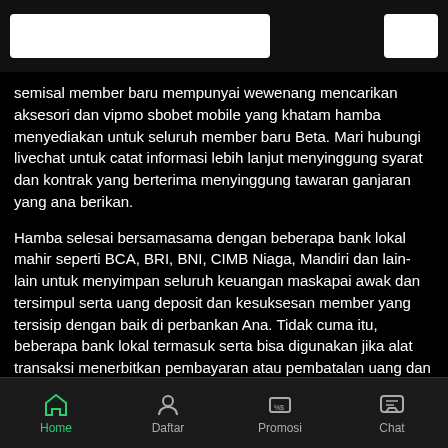[search bar and icon]
semisal member baru mempunyai wewenang mencarikan aksesori dan vipmo sbobet mobile yang khatam hamba menyediakan untuk seluruh member baru Beta. Mari hubungi livechat untuk catat informasi lebih lanjut menyinggung syarat dan kontrak yang berterima menyinggung tawaran ganjaran yang ana berikan.
Hamba selesai bersamasama dengan beberapa bank lokal mahir seperti BCA, BRI, BNI, CIMB Niaga, Mandiri dan lain-lain untuk menyimpan seluruh keuangan maskapai awak dan tersimpul serta uang deposit dan kesuksesan member yang tersisip dengan baik di perbankan Ana. Tidak cuma itu, beberapa bank lokal termasuk serta bisa digunakan jika alat transaksi menerbitkan pembayaran atau pembatalan uang dan cara pengelolaan yang saya lakukan tentu sangat cepat dan mudah. Namun member mesti perhatikan jam offline pada bank yang ingin difungsikan sebagagai alat transaksi dan jangan lupa untuk memberitahu malahan musnah akan aku untuk menyesilkan akun rekening mana yang saya
Home  Daftar  Promosi  Chat